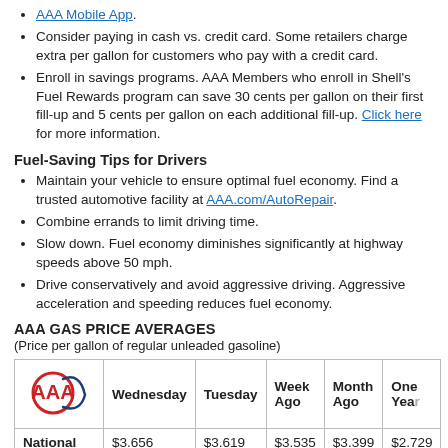AAA Mobile App.
Consider paying in cash vs. credit card. Some retailers charge extra per gallon for customers who pay with a credit card.
Enroll in savings programs. AAA Members who enroll in Shell's Fuel Rewards program can save 30 cents per gallon on their first fill-up and 5 cents per gallon on each additional fill-up. Click here for more information.
Fuel-Saving Tips for Drivers
Maintain your vehicle to ensure optimal fuel economy. Find a trusted automotive facility at AAA.com/AutoRepair.
Combine errands to limit driving time.
Slow down. Fuel economy diminishes significantly at highway speeds above 50 mph.
Drive conservatively and avoid aggressive driving. Aggressive acceleration and speeding reduces fuel economy.
AAA GAS PRICE AVERAGES
(Price per gallon of regular unleaded gasoline)
|  | Wednesday | Tuesday | Week Ago | Month Ago | One Year |
| --- | --- | --- | --- | --- | --- |
| National | $3.656 | $3.619 | $3.535 | $3.399 | $2.729 |